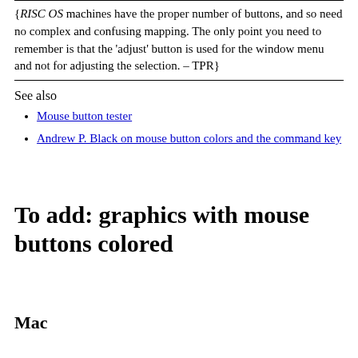{RISC OS machines have the proper number of buttons, and so need no complex and confusing mapping. The only point you need to remember is that the 'adjust' button is used for the window menu and not for adjusting the selection. – TPR}
See also
Mouse button tester
Andrew P. Black on mouse button colors and the command key
To add: graphics with mouse buttons colored
Mac